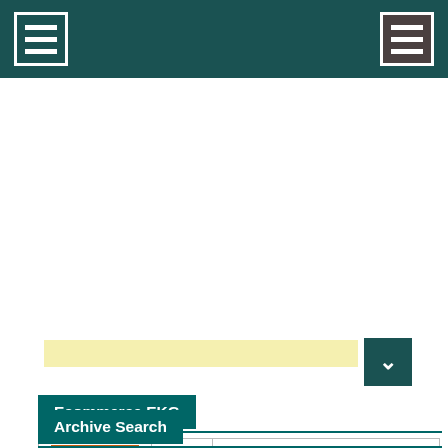Navigation header with menu icons
[Figure (other): Yellow advertisement bar placeholder]
Ecommerce EKG
| Logo | Signal | Description |
| --- | --- | --- |
| Etsy | bars | Etsy says problem with 3rd-party integrations though it did |
| USPS | bars with green | Single packages are getting 5 or 6 delivery scans each, all |
Archive Search